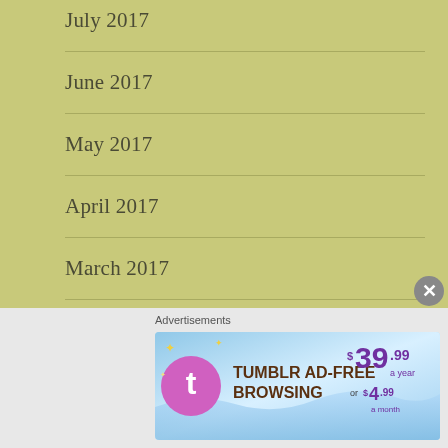July 2017
June 2017
May 2017
April 2017
March 2017
February 2017
January 2017
December 2016
November 2016
Advertisements
[Figure (screenshot): Tumblr Ad-Free Browsing advertisement banner: $39.99 a year or $4.99 a month]